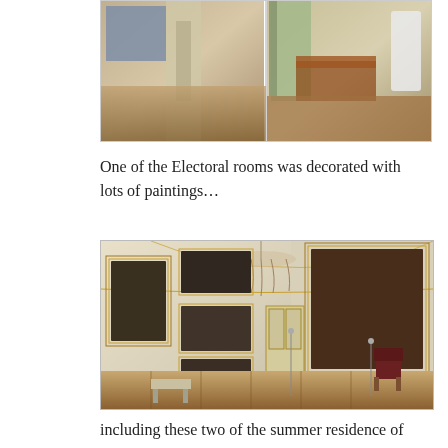[Figure (photo): Two side-by-side photos of ornate palace interior rooms. Left: a corridor view of an electoral room with paintings and parquet floors. Right: a bedroom with green curtains, a dark wood sofa/bed, and a white stove.]
One of the Electoral rooms was decorated with lots of paintings…
[Figure (photo): Interior of an ornate Baroque/Rococo room with white and gold walls covered in dark oil paintings in heavy gold frames. An elaborate chandelier hangs from the ceiling, and a velvet-upholstered chair and wooden stool sit on a parquet wood floor.]
including these two of the summer residence of